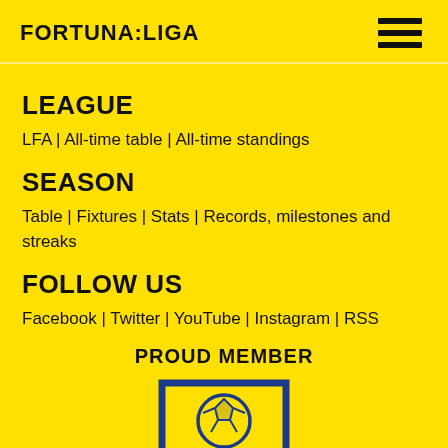FORTUNA:LIGA
LEAGUE
LFA | All-time table | All-time standings
SEASON
Table | Fixtures | Stats | Records, milestones and streaks
FOLLOW US
Facebook | Twitter | YouTube | Instagram | RSS
PROUD MEMBER
[Figure (logo): European Leagues logo — blue rectangular frame with a soccer ball inside, text EUROPEAN LEAGUES below]